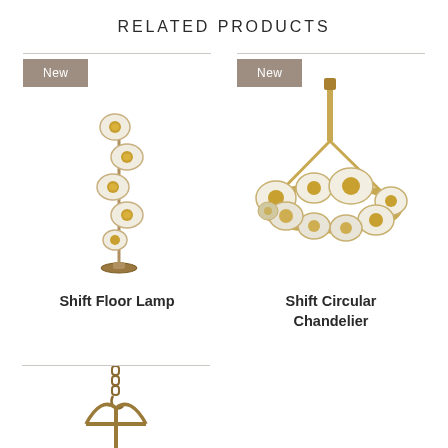RELATED PRODUCTS
[Figure (photo): Shift Floor Lamp - mid-century modern floor lamp with multiple circular disc shades in brass/gold finish arranged vertically on a slender pole with circular base, labeled 'New']
Shift Floor Lamp
[Figure (photo): Shift Circular Chandelier - circular ring chandelier with multiple disc-shaped shades in white and brass/gold, hanging from a single rod with chain, labeled 'New']
Shift Circular Chandelier
[Figure (photo): Partial view of a third product - appears to be a chandelier with chain and arc/hoop structure visible at bottom of page]